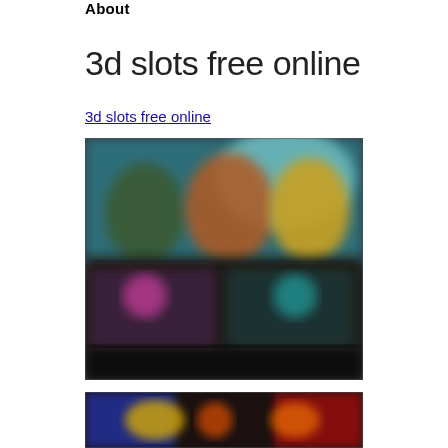About
3d slots free online
3d slots free online
[Figure (photo): Blurred screenshot of a 3D slots online casino game interface showing colorful animated characters on a dark background with game thumbnails below]
[Figure (photo): Blurred screenshot of another 3D slots game showing colorful lights and symbols]